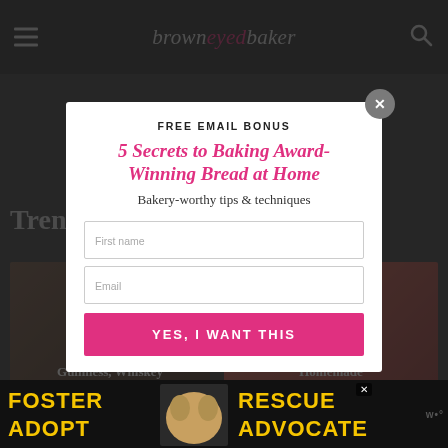brown eyed baker — navigation header with hamburger menu and search icon
[Figure (screenshot): Website screenshot of browneyedbaker.com showing a modal popup over a food blog page. The background shows food photography thumbnails and partially visible article titles. A modal dialog is overlaid with an email signup form.]
FREE EMAIL BONUS
5 Secrets to Baking Award-Winning Bread at Home
Bakery-worthy tips & techniques
First name
Email
YES, I WANT THIS
Guinness, Whiskey & Irish Cream
Homemade Buttermilk Ranch
[Figure (photo): Advertisement banner at bottom showing a beagle dog with text FOSTER ADOPT RESCUE ADVOCATE]